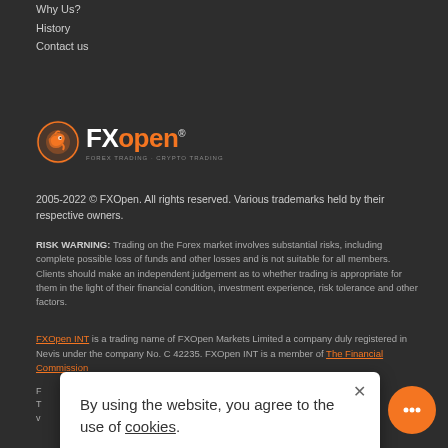Why Us?
History
Contact us
[Figure (logo): FXOpen logo with dragon icon and FXOpen wordmark in white and orange]
2005-2022 © FXOpen. All rights reserved. Various trademarks held by their respective owners.
RISK WARNING: Trading on the Forex market involves substantial risks, including complete possible loss of funds and other losses and is not suitable for all members. Clients should make an independent judgement as to whether trading is appropriate for them in the light of their financial condition, investment experience, risk tolerance and other factors.
FXOpen INT is a trading name of FXOpen Markets Limited a company duly registered in Nevis under the company No. C 42235. FXOpen INT is a member of The Financial Commission
residents.
addressed to the public of Be... where such distribution or use...
By using the website, you agree to the use of cookies.
[Figure (infographic): Social media icons: Facebook, Twitter, Telegram, LinkedIn, WhatsApp]